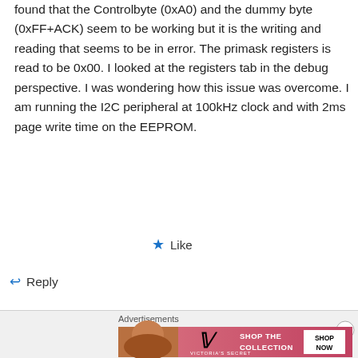found that the Controlbyte (0xA0) and the dummy byte (0xFF+ACK) seem to be working but it is the writing and reading that seems to be in error. The primask registers is read to be 0x00. I looked at the registers tab in the debug perspective. I was wondering how this issue was overcome. I am running the I2C peripheral at 100kHz clock and with 2ms page write time on the EEPROM.
Like
Reply
[Figure (other): Victoria's Secret advertisement banner with model photo, VS logo, 'SHOP THE COLLECTION' text, and 'SHOP NOW' button]